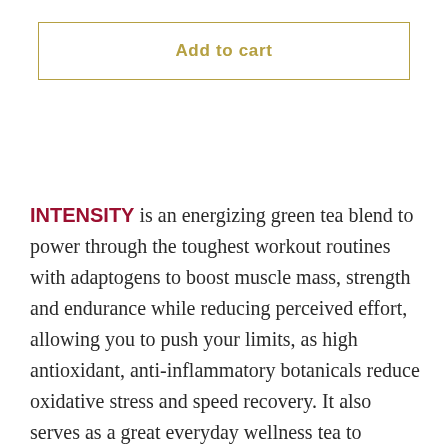Add to cart
INTENSITY is an energizing green tea blend to power through the toughest workout routines with adaptogens to boost muscle mass, strength and endurance while reducing perceived effort, allowing you to push your limits, as high antioxidant, anti-inflammatory botanicals reduce oxidative stress and speed recovery. It also serves as a great everyday wellness tea to support immunity, heart, brain, joint and respiratory health.